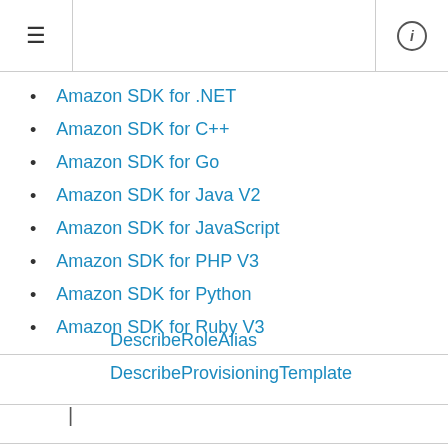≡ ⓘ
Amazon SDK for .NET
Amazon SDK for C++
Amazon SDK for Go
Amazon SDK for Java V2
Amazon SDK for JavaScript
Amazon SDK for PHP V3
Amazon SDK for Python
Amazon SDK for Ruby V3
DescribeRoleAlias
DescribeProvisioningTemplate